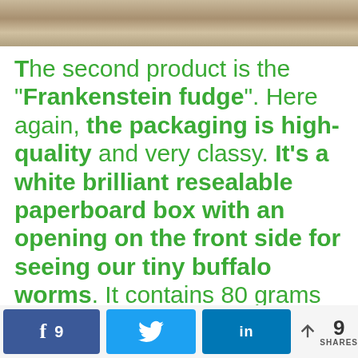[Figure (photo): Partial photo of food product at top of page]
The second product is the "Frankenstein fudge". Here again, the packaging is high-quality and very classy. It's a white brilliant resealable paperboard box with an opening on the front side for seeing our tiny buffalo worms. It contains 80 grams of products. On the back, you will find all the information
f 9 [tweet icon] [linkedin icon] < 9 SHARES